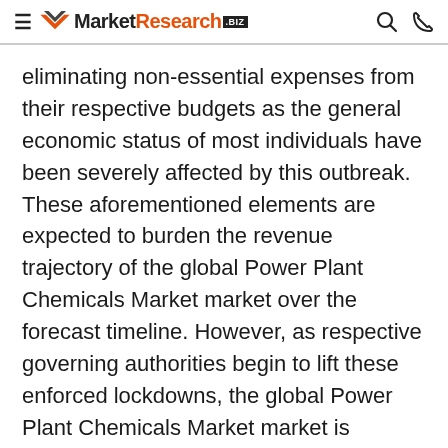MarketResearch.biz
eliminating non-essential expenses from their respective budgets as the general economic status of most individuals have been severely affected by this outbreak. These aforementioned elements are expected to burden the revenue trajectory of the global Power Plant Chemicals Market market over the forecast timeline. However, as respective governing authorities begin to lift these enforced lockdowns, the global Power Plant Chemicals Market market is expected to recover accordingly.